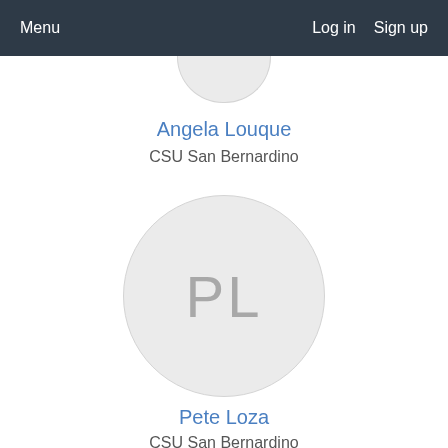Menu   Log in   Sign up
[Figure (illustration): Partial avatar circle for Angela Louque, cropped at top of visible area]
Angela Louque
CSU San Bernardino
[Figure (illustration): Avatar circle with initials PL for Pete Loza]
Pete Loza
CSU San Bernardino